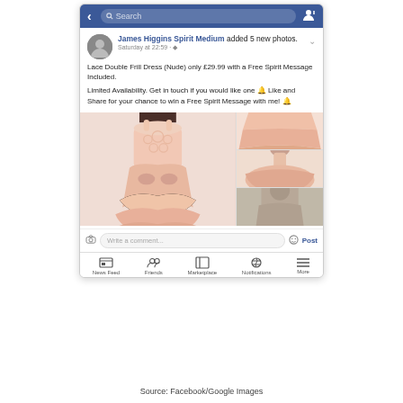[Figure (screenshot): Screenshot of a Facebook mobile app post by James Higgins Spirit Medium, showing a promotion for a Lace Double Frill Dress (Nude) at £29.99 with a Free Spirit Message included. Post includes images of the dress from multiple angles in a photo grid layout, a comment bar, and the Facebook bottom navigation bar.]
Source: Facebook/Google Images